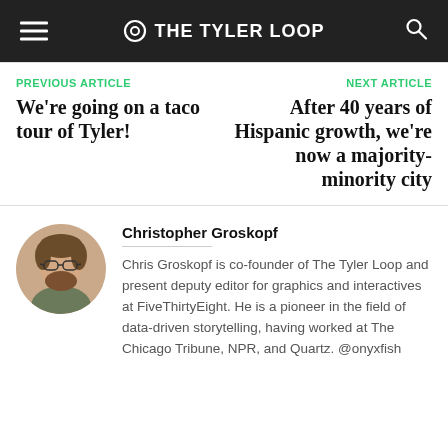THE TYLER LOOP
PREVIOUS ARTICLE
We're going on a taco tour of Tyler!
NEXT ARTICLE
After 40 years of Hispanic growth, we're now a majority-minority city
[Figure (photo): Circular profile photo of Christopher Groskopf, a man with glasses and a beard]
Christopher Groskopf
Chris Groskopf is co-founder of The Tyler Loop and present deputy editor for graphics and interactives at FiveThirtyEight. He is a pioneer in the field of data-driven storytelling, having worked at The Chicago Tribune, NPR, and Quartz. @onyxfish